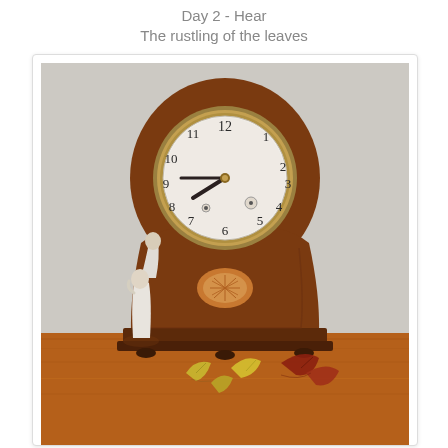Day 2 - Hear
The rustling of the leaves
[Figure (photo): Antique balloon-shaped mantel clock with wooden walnut case and inlaid oval marquetry detail, white enamel dial with Arabic numerals, sitting on a wooden surface. To the left is a small ceramic figurine of two people embracing. In the foreground are scattered autumn leaves (yellow, green, and red/brown).]